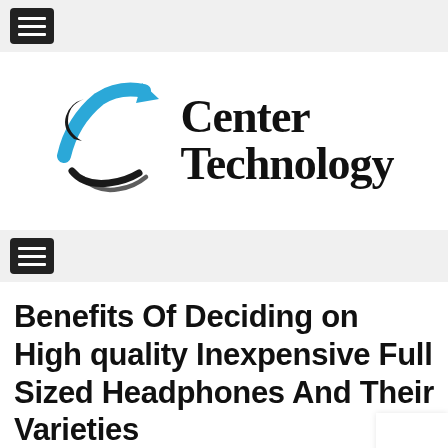[Figure (logo): Technology Center logo with blue arrow and swoosh graphic, bold serif text reading 'Center' on top line and 'Technology' on bottom line]
Benefits Of Deciding on High quality Inexpensive Full Sized Headphones And Their Varieties